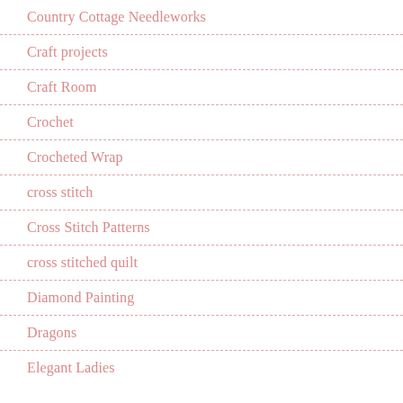Country Cottage Needleworks
Craft projects
Craft Room
Crochet
Crocheted Wrap
cross stitch
Cross Stitch Patterns
cross stitched quilt
Diamond Painting
Dragons
Elegant Ladies